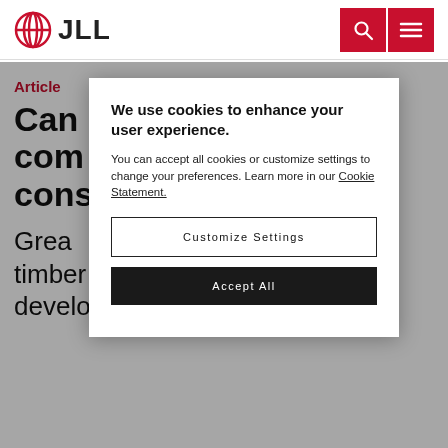JLL
Article
Can... com... cons... r?
Grea... ered timber methods in office developments could speed up
We use cookies to enhance your user experience.
You can accept all cookies or customize settings to change your preferences. Learn more in our Cookie Statement.
Customize Settings
Accept All